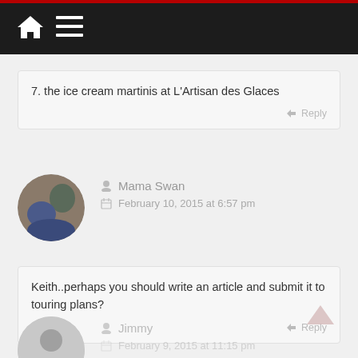Navigation bar with home and menu icons
7. the ice cream martinis at L'Artisan des Glaces
Reply
Mama Swan
February 10, 2015 at 6:57 pm
Keith..perhaps you should write an article and submit it to touring plans?
Reply
Jimmy
February 9, 2015 at 11:15 pm